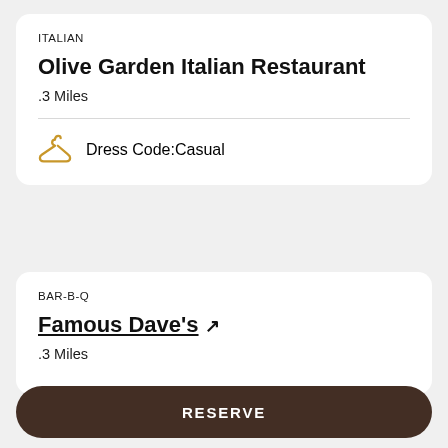ITALIAN
Olive Garden Italian Restaurant
.3 Miles
Dress Code:Casual
BAR-B-Q
Famous Dave's ↗
.3 Miles
RESERVE